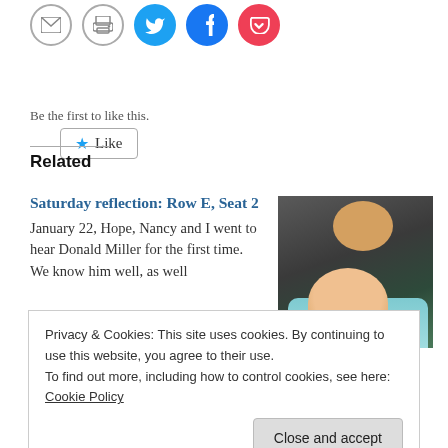[Figure (other): Social sharing icons: email (envelope), print, Twitter (bird), Facebook (f), Pocket (p) as circular buttons]
Like
Be the first to like this.
Related
Saturday reflection: Row E, Seat 2
January 22, Hope, Nancy and I went to hear Donald Miller for the first time. We know him well, as well
[Figure (photo): Photo of an adult cradling a baby with a teal blanket, adult kissing baby's head]
A prayer for the
Privacy & Cookies: This site uses cookies. By continuing to use this website, you agree to their use.
To find out more, including how to control cookies, see here: Cookie Policy
Close and accept
Colossians